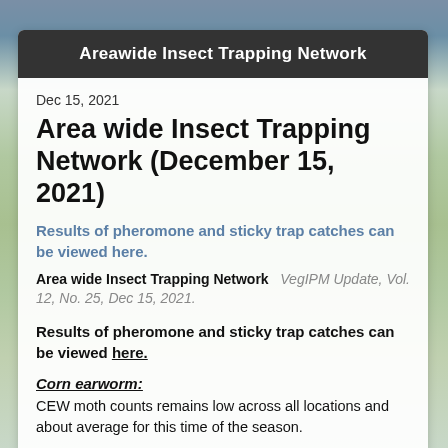Areawide Insect Trapping Network
Dec 15, 2021
Area wide Insect Trapping Network (December 15, 2021)
Results of pheromone and sticky trap catches can be viewed here.
Area wide Insect Trapping Network   VegIPM Update, Vol. 12, No. 25, Dec 15, 2021.
Results of pheromone and sticky trap catches can be viewed here.
Corn earworm:
CEW moth counts remains low across all locations and about average for this time of the season.